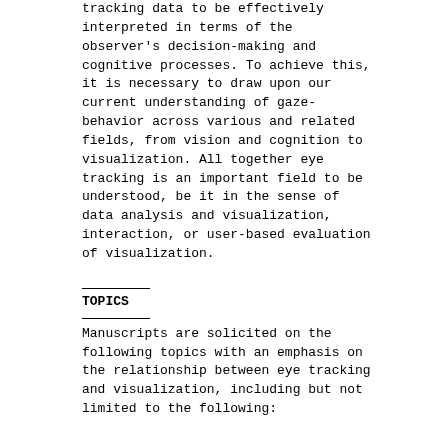tracking data to be effectively interpreted in terms of the observer's decision-making and cognitive processes. To achieve this, it is necessary to draw upon our current understanding of gaze-behavior across various and related fields, from vision and cognition to visualization. All together eye tracking is an important field to be understood, be it in the sense of data analysis and visualization, interaction, or user-based evaluation of visualization.
TOPICS
Manuscripts are solicited on the following topics with an emphasis on the relationship between eye tracking and visualization, including but not limited to the following: